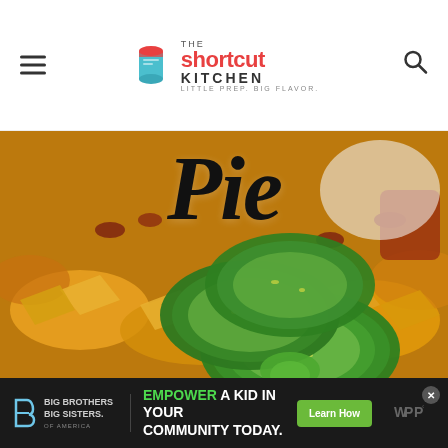The Shortcut Kitchen - Little Prep. Big Flavor.
[Figure (photo): Close-up food photo of jalapeño slices stacked on top of corn chips with bacon bits, serving as hero image background for a 'Pie' category page]
Pie
[Figure (infographic): Advertisement banner: Big Brothers Big Sisters logo on left, text 'EMPOWER A KID IN YOUR COMMUNITY TODAY.' in center with Learn How button, WPP logo on right]